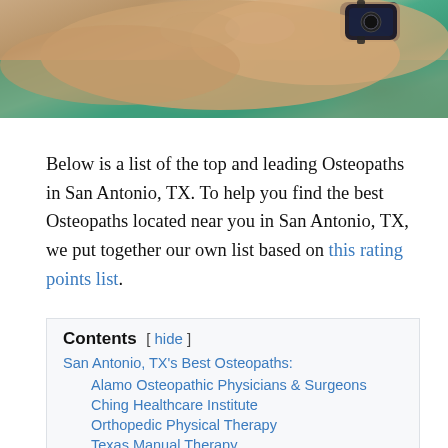[Figure (photo): Close-up photo of a person wearing a dark watch, dressed in a teal/green top, hands folded or clasped, cropped at top of the page.]
Below is a list of the top and leading Osteopaths in San Antonio, TX. To help you find the best Osteopaths located near you in San Antonio, TX, we put together our own list based on this rating points list.
San Antonio, TX's Best Osteopaths:
Alamo Osteopathic Physicians & Surgeons
Ching Healthcare Institute
Orthopedic Physical Therapy
Texas Manual Therapy
MacGregor Medical Center